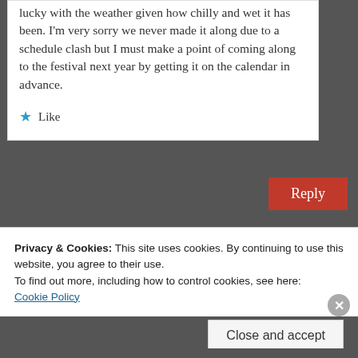lucky with the weather given how chilly and wet it has been. I'm very sorry we never made it along due to a schedule clash but I must make a point of coming along to the festival next year by getting it on the calendar in advance.
★ Like
Reply
Privacy & Cookies: This site uses cookies. By continuing to use this website, you agree to their use.
To find out more, including how to control cookies, see here:
Cookie Policy
Close and accept